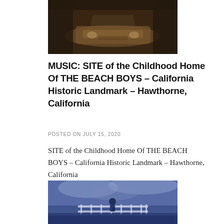[Figure (photo): Sepia-toned vintage photograph of a classic car viewed from above/front angle, dark background]
MUSIC: SITE of the Childhood Home Of THE BEACH BOYS – California Historic Landmark – Hawthorne, California
POSTED ON JULY 15, 2020
SITE of the Childhood Home Of THE BEACH BOYS – California Historic Landmark – Hawthorne, California
[Figure (photo): Blue-tinted photograph of a person standing on a dock or pier with white railing, cloudy sky background]